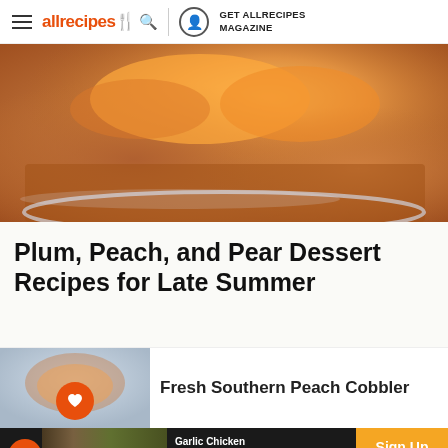allrecipes | GET ALLRECIPES MAGAZINE
[Figure (photo): Close-up photo of a peach upside-down cake in a glass pie dish, showing golden-brown caramelized top with peach slices]
Plum, Peach, and Pear Dessert Recipes for Late Summer
[Figure (photo): Recipe card thumbnail for Fresh Southern Peach Cobbler with orange heart badge]
Fresh Southern Peach Cobbler
[Figure (photo): Advertisement banner for Garlic Chicken Parmesan with orange Sign Up & Save It call to action]